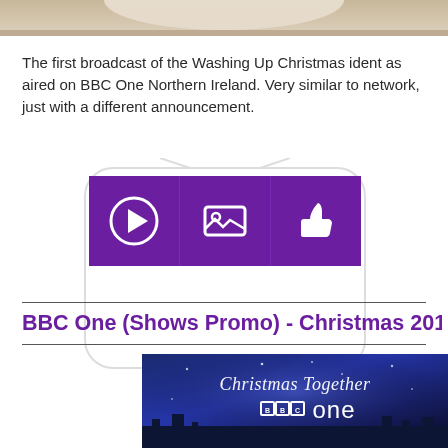[Figure (photo): Top portion of a room scene, light wooden floor or ceiling visible]
The first broadcast of the Washing Up Christmas ident as aired on BBC One Northern Ireland. Very similar to network, just with a different announcement.
[Figure (infographic): Three purple square buttons with white icons: play button, image/gallery icon, and thumbs up/like icon, arranged horizontally in a TV frame shape]
BBC One (Shows Promo) - Christmas 2017
[Figure (screenshot): Screenshot of BBC One Christmas promotional video showing 'Christmas Together' text over a snowy nighttime village scene with BBC One logo]